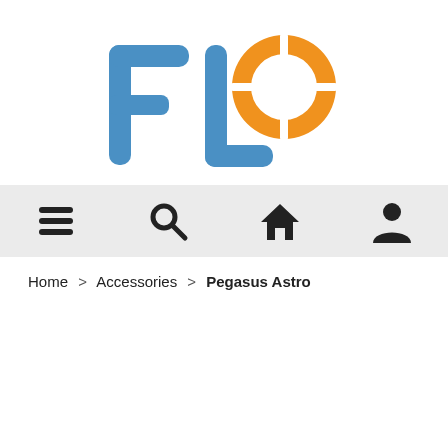[Figure (logo): FLO logo: blue stylized letters 'FL' connected, orange circular target/crosshair forming the 'O']
[Figure (screenshot): Navigation bar with four icons: hamburger menu, search magnifying glass, home house, person/account]
Home > Accessories > Pegasus Astro